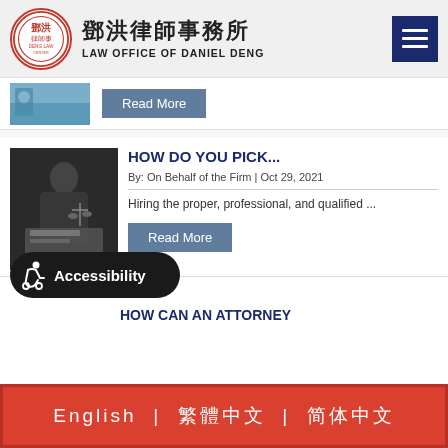[Figure (logo): Deng Law Center circular logo with Chinese characters]
鄧洪律師事務所 LAW OFFICE OF DANIEL DENG
[Figure (screenshot): Read More button from previous article with blue medical image]
HOW DO YOU PICK...
By: On Behalf of the Firm | Oct 29, 2021
Hiring the proper, professional, and qualified ...
Read More
[Figure (other): Accessibility button with wheelchair icon]
HOW CAN AN ATTORNEY
English | 繁體中文 | 简体中文